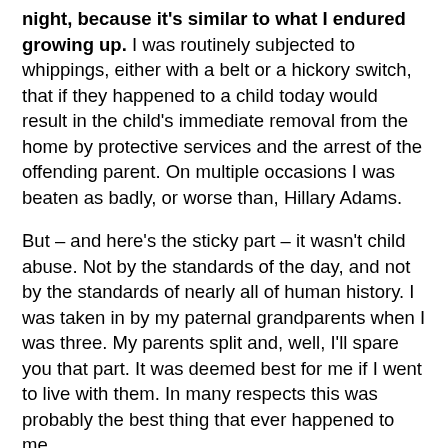night, because it's similar to what I endured growing up. I was routinely subjected to whippings, either with a belt or a hickory switch, that if they happened to a child today would result in the child's immediate removal from the home by protective services and the arrest of the offending parent. On multiple occasions I was beaten as badly, or worse than, Hillary Adams.
But – and here's the sticky part – it wasn't child abuse. Not by the standards of the day, and not by the standards of nearly all of human history. I was taken in by my paternal grandparents when I was three. My parents split and, well, I'll spare you that part. It was deemed best for me if I went to live with them. In many respects this was probably the best thing that ever happened to me.
My grandparents, though, were old school Southern working class Baptist, born and bred to the wisdom of the Old Testament. To the modern ear, the idea of beating a child because you love him sounds counter-intuitive, but to